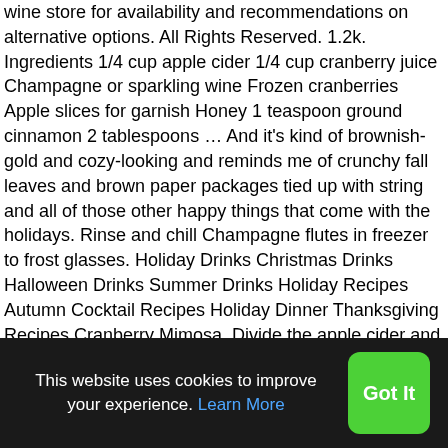wine store for availability and recommendations on alternative options. All Rights Reserved. 1.2k. Ingredients 1/4 cup apple cider 1/4 cup cranberry juice Champagne or sparkling wine Frozen cranberries Apple slices for garnish Honey 1 teaspoon ground cinnamon 2 tablespoons … And it's kind of brownish-gold and cozy-looking and reminds me of crunchy fall leaves and brown paper packages tied up with string and all of those other happy things that come with the holidays. Rinse and chill Champagne flutes in freezer to frost glasses. Holiday Drinks Christmas Drinks Halloween Drinks Summer Drinks Holiday Recipes Autumn Cocktail Recipes Holiday Dinner Thanksgiving Recipes Cranberry Mimosa. Divide the apple cider and cranberry juice in the prepared glasses. Filed Under: Breakfast, Brunch, Cocktails, Crumby Cocktail Hour, Drinks, Holiday, Recipes, Thanksgiving & Christmas Tagged With: apple, apple cider, brunch, champagne, Christmas, cocktail,
This website uses cookies to improve your experience. Learn More